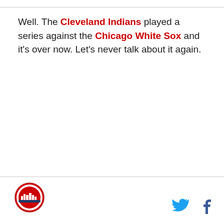Well. The Cleveland Indians played a series against the Chicago White Sox and it's over now. Let's never talk about it again.
[Figure (logo): Circular team logo with red/white/blue design and city skyline]